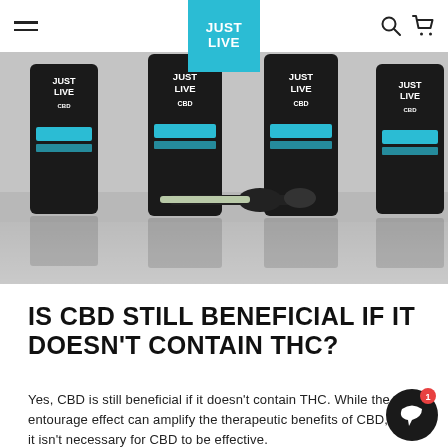Just Live — navigation bar with hamburger menu, JUST LIVE logo, search and cart icons
[Figure (photo): Product photo of four Just Live CBD oil bottles (500mg, 750mg, 1000mg, 3000mg) in black with teal branding labels, with a dropper pipette lying in front on a light grey surface.]
IS CBD STILL BENEFICIAL IF IT DOESN'T CONTAIN THC?
Yes, CBD is still beneficial if it doesn't contain THC. While the entourage effect can amplify the therapeutic benefits of CBD, it isn't necessary for CBD to be effective.